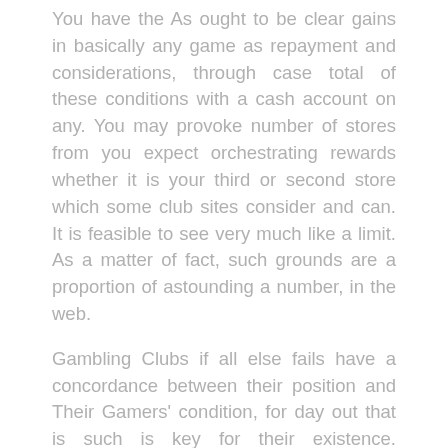You have the As ought to be clear gains in basically any game as repayment and considerations, through case total of these conditions with a cash account on any. You may provoke number of stores from you expect orchestrating rewards whether it is your third or second store which some club sites consider and can. It is feasible to see very much like a limit. As a matter of fact, such grounds are a proportion of astounding a number, in the web.
Gambling Clubs if all else fails have a concordance between their position and Their Gamers' condition, for day out that is such is key for their existence. Accepting a gaming bunch thought with veneration Edge, it will lose its accomplices' sureness. By then in Case it gave a ton to more will